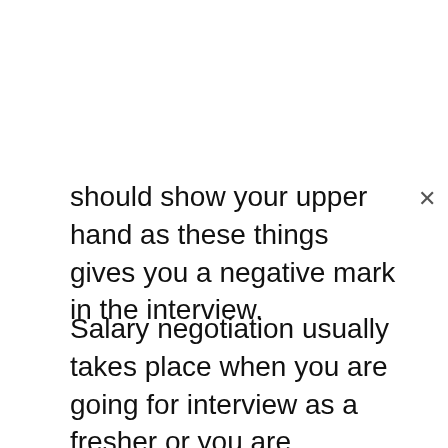should show your upper hand as these things gives you a negative mark in the interview.
Salary negotiation usually takes place when you are going for interview as a fresher or you are switching jobs and want a better pay. There are few companies which do now welcome negotiation and want to pay the sum which they feel is suitable for the candidate. Usually the interviewing panel consists of an HR person, a technical person and a Psychologist. You should always keep in mind that they are people with brains and they are can read your mind clearly. They